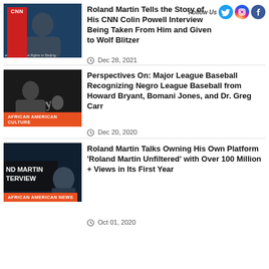[Figure (screenshot): Social media follow bar with Twitter, Instagram, Facebook icons and 'Follow Us' text]
[Figure (photo): CNN thumbnail showing Roland Martin in a studio interview with CNN banner]
Roland Martin Tells the Story of His CNN Colin Powell Interview Being Taken From Him and Given to Wolf Blitzer
Dec 28, 2021
[Figure (photo): Black and white photo of Negro League Baseball players, Grays jersey visible, with African American Culture badge]
Perspectives On: Major League Baseball Recognizing Negro League Baseball from Howard Bryant, Bomani Jones, and Dr. Greg Carr
Dec 20, 2020
[Figure (photo): Roland Martin interview thumbnail with 'ND MARTIN TERVIEW' text overlay and African American News badge]
Roland Martin Talks Owning His Own Platform 'Roland Martin Unfiltered' with Over 100 Million + Views in Its First Year
Oct 01, 2020